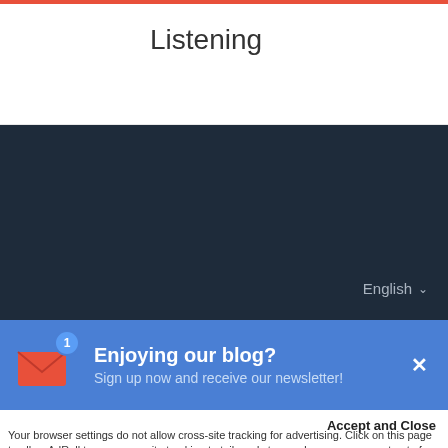Listening
English ∨
CONNECT WITH US
[Figure (infographic): Six social media icons in white circles on dark background: Twitter, Facebook, LinkedIn, YouTube, Instagram, RSS]
[Figure (infographic): Newsletter signup bar with envelope icon and badge showing 1, blue background, title 'Enjoying our blog?', subtitle 'Sign up now and receive our newsletter!', and close X button]
Accept and Close
✕ Your browser settings do not allow cross-site tracking for advertising. Click on this page to allow AdRoll to use cross-site tracking to tailor ads to you. Learn more or opt out of this AdRoll tracking by clicking here. This message only appears once.